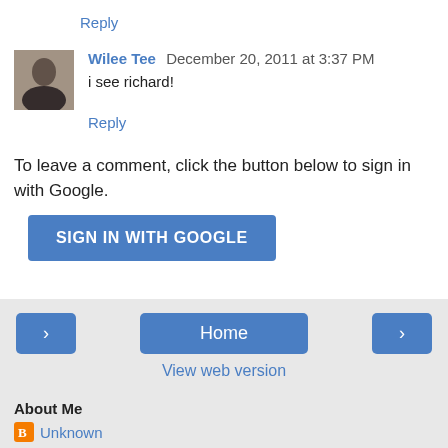Reply
Wilee Tee  December 20, 2011 at 3:37 PM
i see richard!
Reply
To leave a comment, click the button below to sign in with Google.
SIGN IN WITH GOOGLE
Home
View web version
About Me
Unknown